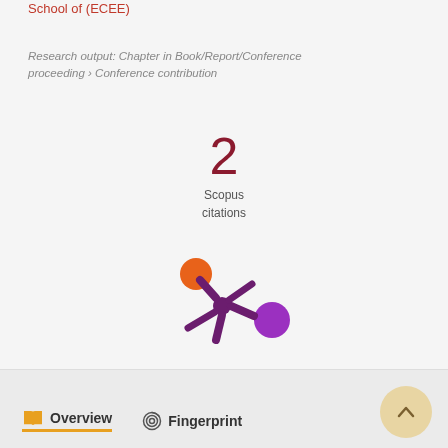School of (ECEE)
Research output: Chapter in Book/Report/Conference proceeding › Conference contribution
2
Scopus
citations
[Figure (logo): Altmetric/research metrics logo — a purple asterisk/splash shape with an orange circle at top-left and a purple circle at right]
Overview   Fingerprint